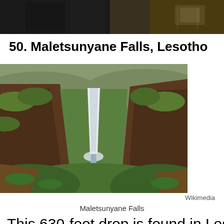[Figure (photo): Top portion of a photo showing people, partially cropped at the top of the page]
50. Maletsunyane Falls, Lesotho
[Figure (photo): Aerial landscape photo of Maletsunyane Falls in Lesotho — a tall waterfall dropping into a deep canyon surrounded by green hills and rocky cliffs]
Wikimedia
Maletsunyane Falls
This 630-foot drop is found in Lesotho,